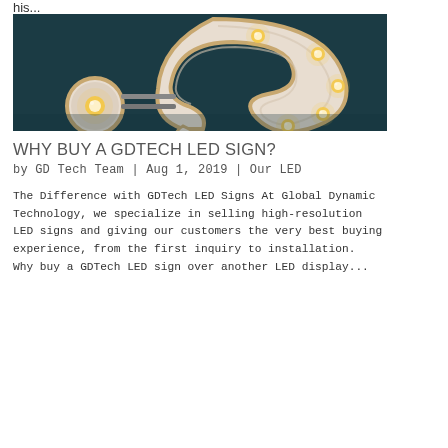his...
[Figure (photo): A large decorative question mark sign made of wood/metal with embedded light bulbs (marquee-style), photographed against a dark teal background. The question mark has warm glowing Edison-style bulbs.]
WHY BUY A GDTECH LED SIGN?
by GDTech Team | Aug 1, 2019 | Our LED
The Difference with GDTech LED Signs At Global Dynamic Technology, we specialize in selling high-resolution LED signs and giving our customers the very best buying experience, from the first inquiry to installation.  Why buy a GDTech LED sign over another LED display...